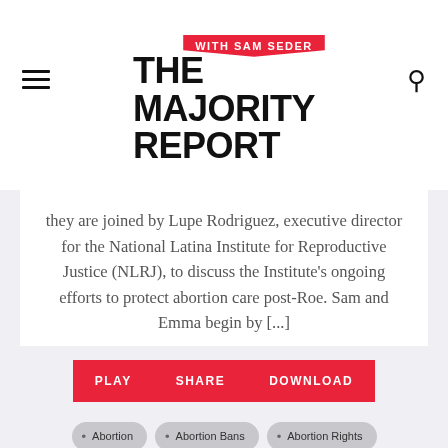The Majority Report with Sam Seder
they are joined by Lupe Rodriguez, executive director for the National Latina Institute for Reproductive Justice (NLRJ), to discuss the Institute's ongoing efforts to protect abortion care post-Roe. Sam and Emma begin by [...]
PLAY | SHARE | DOWNLOAD
Abortion
Abortion Bans
Abortion Rights
Biden Administration
Care Infrastructure
community organizing
Democratic Primary